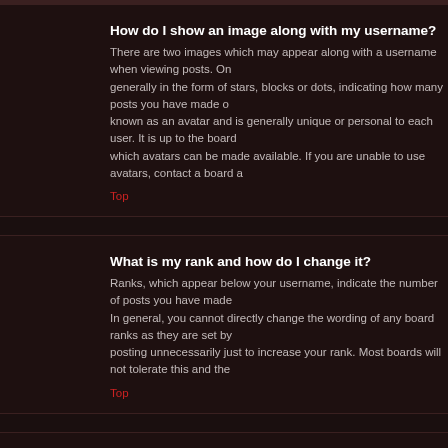How do I show an image along with my username?
There are two images which may appear along with a username when viewing posts. One generally in the form of stars, blocks or dots, indicating how many posts you have made o known as an avatar and is generally unique or personal to each user. It is up to the board which avatars can be made available. If you are unable to use avatars, contact a board a
Top
What is my rank and how do I change it?
Ranks, which appear below your username, indicate the number of posts you have made In general, you cannot directly change the wording of any board ranks as they are set by posting unnecessarily just to increase your rank. Most boards will not tolerate this and the
Top
When I click the e-mail link for a user it asks me to login?
Only registered users can send e-mail to other users via the built-in e-mail form, and only prevent malicious use of the e-mail system by anonymous users.
Top
Posting Issues
How do I post a topic in a forum?
To post a new topic in a forum, click the relevant button on either the forum or topic scree